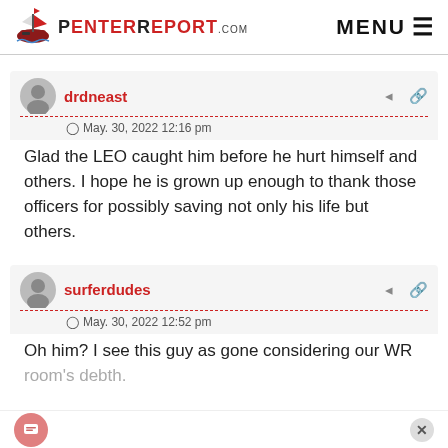PenterReport.com MENU
drdneast
May. 30, 2022 12:16 pm
Glad the LEO caught him before he hurt himself and others. I hope he is grown up enough to thank those officers for possibly saving not only his life but others.
surferdudes
May. 30, 2022 12:52 pm
Oh him? I see this guy as gone considering our WR room's debth.